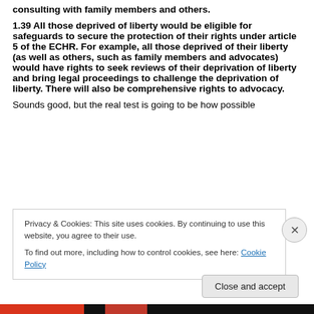consulting with family members and others.
1.39 All those deprived of liberty would be eligible for safeguards to secure the protection of their rights under article 5 of the ECHR. For example, all those deprived of their liberty (as well as others, such as family members and advocates) would have rights to seek reviews of their deprivation of liberty and bring legal proceedings to challenge the deprivation of liberty. There will also be comprehensive rights to advocacy.
Sounds good, but the real test is going to be how possible
Privacy & Cookies: This site uses cookies. By continuing to use this website, you agree to their use.
To find out more, including how to control cookies, see here: Cookie Policy